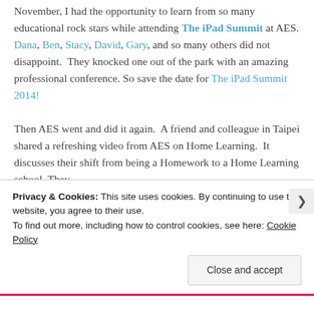November, I had the opportunity to learn from so many educational rock stars while attending The iPad Summit at AES. Dana, Ben, Stacy, David, Gary, and so many others did not disappoint.  They knocked one out of the park with an amazing professional conference. So save the date for The iPad Summit 2014!
Then AES went and did it again.  A friend and colleague in Taipei shared a refreshing video from AES on Home Learning.  It discusses their shift from being a Homework to a Home Learning school. They
Privacy & Cookies: This site uses cookies. By continuing to use this website, you agree to their use.
To find out more, including how to control cookies, see here: Cookie Policy